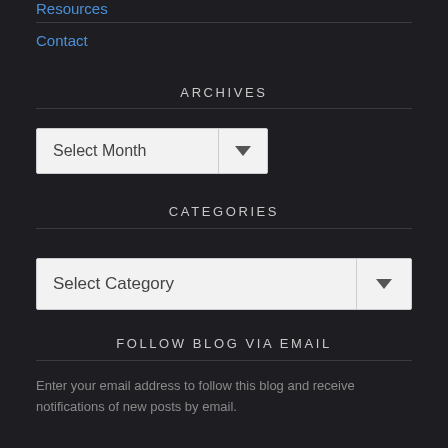Resources
Contact
ARCHIVES
[Figure (screenshot): Dropdown widget labeled 'Select Month' with arrow]
CATEGORIES
[Figure (screenshot): Dropdown widget labeled 'Select Category' with arrow]
FOLLOW BLOG VIA EMAIL
Enter your email address to follow this blog and receive notifications of new posts by email.